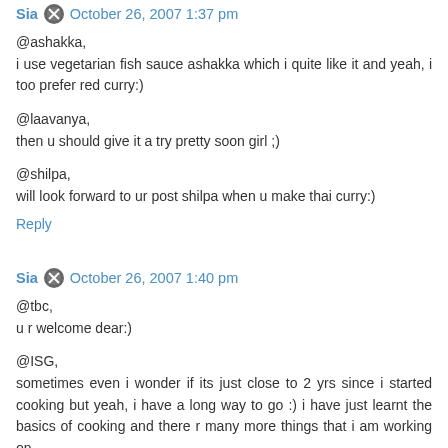Sia • October 26, 2007 1:37 pm
@ashakka,
i use vegetarian fish sauce ashakka which i quite like it and yeah, i too prefer red curry:)
@laavanya,
then u should give it a try pretty soon girl ;)
@shilpa,
will look forward to ur post shilpa when u make thai curry:)
Reply
Sia • October 26, 2007 1:40 pm
@tbc,
u r welcome dear:)
@ISG,
sometimes even i wonder if its just close to 2 yrs since i started cooking but yeah, i have a long way to go :) i have just learnt the basics of cooking and there r many more things that i am working on...